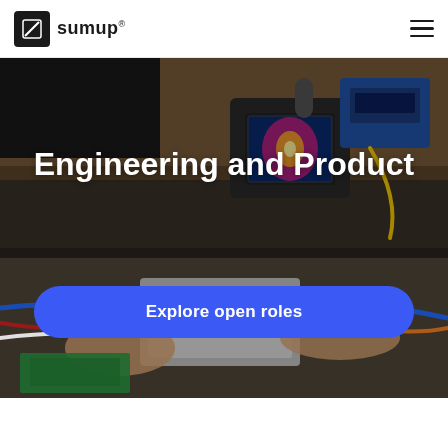SumUp
[Figure (photo): A laboratory/engineering workspace scene: a person's hands working with electronic components, wiring (blue, red, orange cables), a grey plastic enclosure being tested, with a thermal imaging camera/screen visible in the background showing a colorful heat map (blue, pink, yellow). The scene is shot from the side showing electronic test equipment on a workbench.]
Engineering and Product
Explore open roles